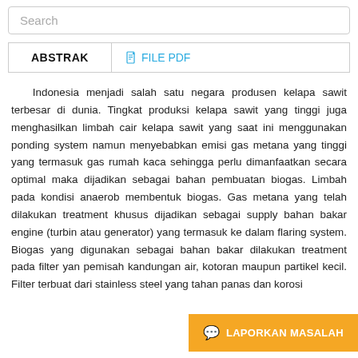Search
ABSTRAK
FILE PDF
Indonesia menjadi salah satu negara produsen kelapa sawit terbesar di dunia. Tingkat produksi kelapa sawit yang tinggi juga menghasilkan limbah cair kelapa sawit yang saat ini menggunakan ponding system namun menyebabkan emisi gas metana yang tinggi yang termasuk gas rumah kaca sehingga perlu dimanfaatkan secara optimal maka dijadikan sebagai bahan pembuatan biogas. Limbah pada kondisi anaerob membentuk biogas. Gas metana yang telah dilakukan treatment khusus dijadikan sebagai supply bahan bakar engine (turbin atau generator) yang termasuk ke dalam flaring system. Biogas yang digunakan sebagai bahan bakar dilakukan treatment pada filter yan... pemisah kandungan air, kotoran maupun partikel kecil. Filter terbuat dari stainless steel yang tahan panas dan korosi
LAPORKAN MASALAH